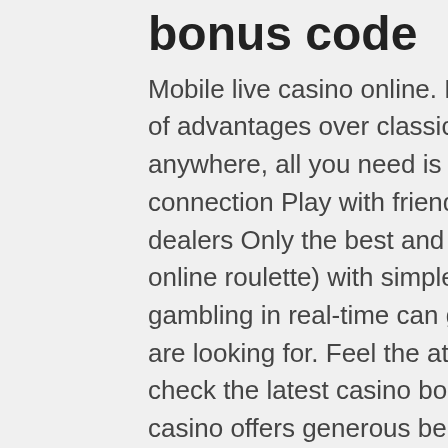bonus code
Mobile live casino online. Mobile live online casino have a number of advantages over classic gambling: Play online casino from anywhere, all you need is a smartphone with a stable internet connection Play with friends, random people or professional dealers Only the best and most popular games (live blackjack, online roulette) with simple and clear rules Only real money gambling in real-time can give you the highest level of emotion you are looking for. Feel the atmosphere of the big gaming world, check the latest casino bonuses page, where Rajbet indian online casino offers generous benefits and amazing welcome bonus on the first deposit for all the live casino players in India. Play responsibly and don't forget to visit our responsible gambling page to check all the important information that concerned about or in danger from